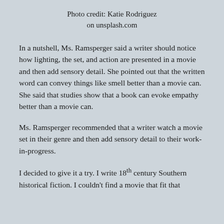Photo credit: Katie Rodriguez on unsplash.com
In a nutshell, Ms. Ramsperger said a writer should notice how lighting, the set, and action are presented in a movie and then add sensory detail. She pointed out that the written word can convey things like smell better than a movie can. She said that studies show that a book can evoke empathy better than a movie can.
Ms. Ramsperger recommended that a writer watch a movie set in their genre and then add sensory detail to their work-in-progress.
I decided to give it a try. I write 18th century Southern historical fiction. I couldn't find a movie that fit that